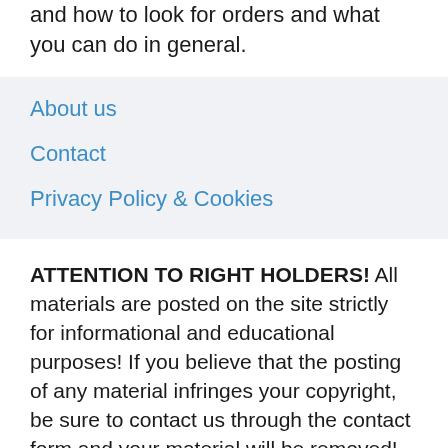and how to look for orders and what you can do in general.
About us
Contact
Privacy Policy & Cookies
ATTENTION TO RIGHT HOLDERS! All materials are posted on the site strictly for informational and educational purposes! If you believe that the posting of any material infringes your copyright, be sure to contact us through the contact form and your material will be removed!